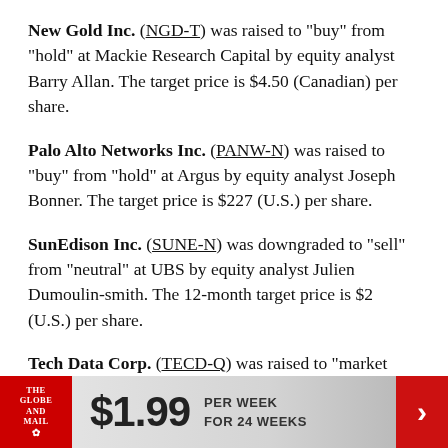New Gold Inc. (NGD-T) was raised to "buy" from "hold" at Mackie Research Capital by equity analyst Barry Allan. The target price is $4.50 (Canadian) per share.
Palo Alto Networks Inc. (PANW-N) was raised to "buy" from "hold" at Argus by equity analyst Joseph Bonner. The target price is $227 (U.S.) per share.
SunEdison Inc. (SUNE-N) was downgraded to "sell" from "neutral" at UBS by equity analyst Julien Dumoulin-smith. The 12-month target price is $2 (U.S.) per share.
Tech Data Corp. (TECD-Q) was raised to "market
[Figure (infographic): The Globe and Mail advertisement banner: $1.99 per week for 24 weeks, with red Globe and Mail logo on left and red arrow on right.]